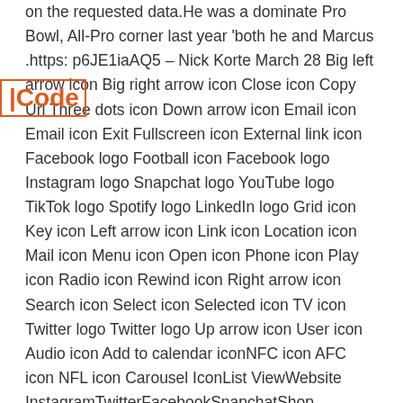on the requested data.He was a dominate Pro Bowl, All-Pro corner last year 'both he and Marcus .https: p6JE1iaAQ5 – Nick Korte March 28 Big left arrow icon Big right arrow icon Close icon Copy Url Three dots icon Down arrow icon Email icon Email icon Exit Fullscreen icon External link icon Facebook logo Football icon Facebook logo Instagram logo Snapchat logo YouTube logo TikTok logo Spotify logo LinkedIn logo Grid icon Key icon Left arrow icon Link icon Location icon Mail icon Menu icon Open icon Phone icon Play icon Radio icon Rewind icon Right arrow icon Search icon Select icon Selected icon TV icon Twitter logo Twitter logo Up arrow icon User icon Audio icon Add to calendar iconNFC icon AFC icon NFL icon Carousel IconList ViewWebsite InstagramTwitterFacebookSnapchatShop IconProfile Overlay AvatarAddAirplayArrow LeftArrow